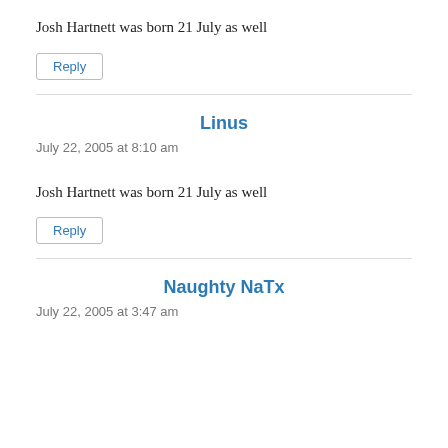Josh Hartnett was born 21 July as well
Reply
Linus
July 22, 2005 at 8:10 am
Josh Hartnett was born 21 July as well
Reply
Naughty NaTx
July 22, 2005 at 3:47 am